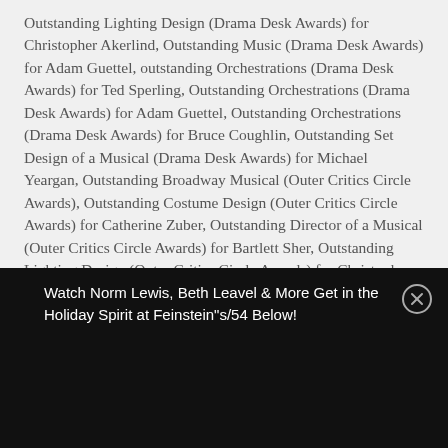Outstanding Lighting Design (Drama Desk Awards) for Christopher Akerlind, Outstanding Music (Drama Desk Awards) for Adam Guettel, outstanding Orchestrations (Drama Desk Awards) for Ted Sperling, Outstanding Orchestrations (Drama Desk Awards) for Adam Guettel, Outstanding Orchestrations (Drama Desk Awards) for Bruce Coughlin, Outstanding Set Design of a Musical (Drama Desk Awards) for Michael Yeargan, Outstanding Broadway Musical (Outer Critics Circle Awards), Outstanding Costume Design (Outer Critics Circle Awards) for Catherine Zuber, Outstanding Director of a Musical (Outer Critics Circle Awards) for Bartlett Sher, Outstanding Lighting Design (Outer Critics Circle Awards) for Christopher Akerlind, Outstanding Set Design (Outer Critics Circle Awards) for
Watch Norm Lewis, Beth Leavel & More Get in the Holiday Spirit at Feinstein"s/54 Below!